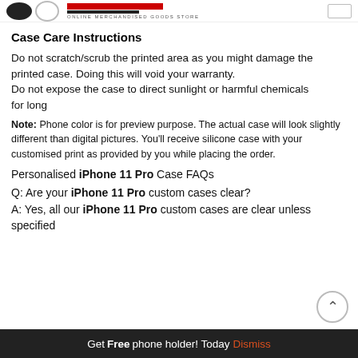Online Merchandised Goods Store
Case Care Instructions
Do not scratch/scrub the printed area as you might damage the printed case. Doing this will void your warranty. Do not expose the case to direct sunlight or harmful chemicals for long
Note: Phone color is for preview purpose. The actual case will look slightly different than digital pictures. You'll receive silicone case with your customised print as provided by you while placing the order.
Personalised iPhone 11 Pro Case FAQs
Q: Are your iPhone 11 Pro custom cases clear?
A: Yes, all our iPhone 11 Pro custom cases are clear unless specified
Get Free phone holder! Today Dismiss